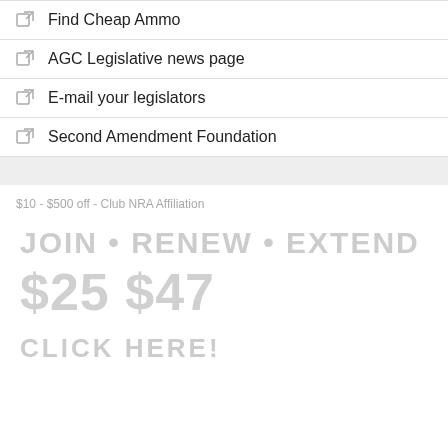Find Cheap Ammo
AGC Legislative news page
E-mail your legislators
Second Amendment Foundation
$10 - $500 off - Club NRA Affiliation
[Figure (infographic): NRA Club Affiliation advertisement with large faded text reading JOIN RENEW EXTEND and CLICK HERE]